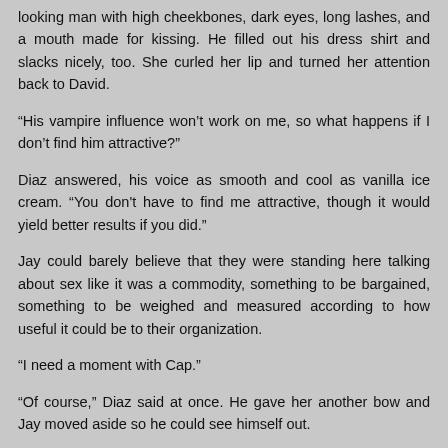looking man with high cheekbones, dark eyes, long lashes, and a mouth made for kissing. He filled out his dress shirt and slacks nicely, too. She curled her lip and turned her attention back to David.
“His vampire influence won’t work on me, so what happens if I don’t find him attractive?”
Diaz answered, his voice as smooth and cool as vanilla ice cream. “You don't have to find me attractive, though it would yield better results if you did.”
Jay could barely believe that they were standing here talking about sex like it was a commodity, something to be bargained, something to be weighed and measured according to how useful it could be to their organization.
“I need a moment with Cap.”
“Of course,” Diaz said at once. He gave her another bow and Jay moved aside so he could see himself out.